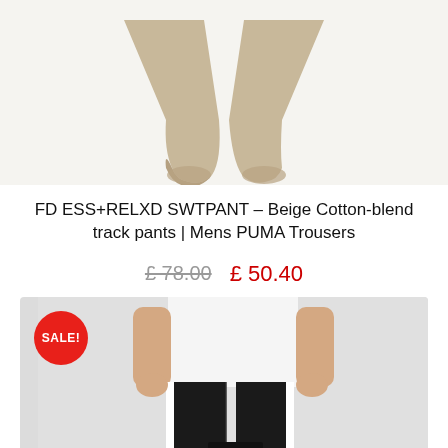[Figure (photo): Bottom portion of beige cotton-blend sweatpants/track pants showing the cuffed ankles, on a light beige/cream background]
FD ESS+RELXD SWTPANT – Beige Cotton-blend track pants | Mens PUMA Trousers
£ 78.00  £ 50.40
[Figure (photo): Man wearing black PUMA track pants with white side stripe and white t-shirt, showing the torso and legs, with a SALE! badge overlay in red circle]